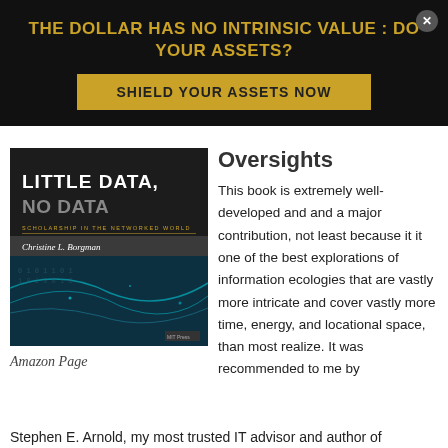THE DOLLAR HAS NO INTRINSIC VALUE : DO YOUR ASSETS?
SHIELD YOUR ASSETS NOW
[Figure (photo): Book cover of 'Little Data, No Data: Scholarship in the Networked World' by Christine L. Borgman]
Amazon Page
Oversights
This book is extremely well-developed and and a major contribution, not least because it it one of the best explorations of information ecologies that are vastly more intricate and cover vastly more time, energy, and locational space, than most realize. It was recommended to me by
Stephen E. Arnold, my most trusted IT advisor and author of